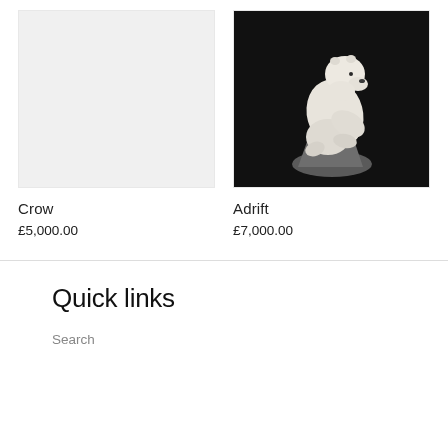[Figure (photo): Gray placeholder image for 'Crow' sculpture — no image loaded, light gray background]
[Figure (photo): Photo of a white polar bear sculpture perched on a dark rock, set against a black background — the sculpture titled 'Adrift']
Crow
£5,000.00
Adrift
£7,000.00
Quick links
Search